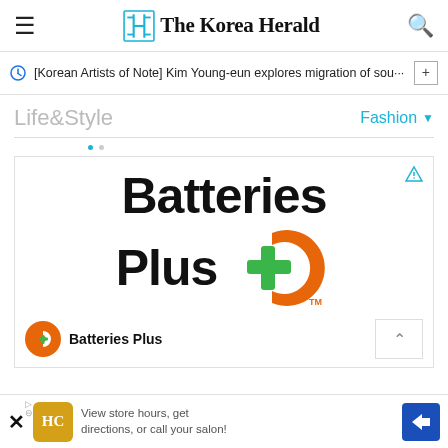The Korea Herald
[Korean Artists of Note] Kim Young-eun explores migration of sou···
Life&Style
Fashion
[Figure (logo): Batteries Plus advertisement showing the Batteries Plus logo with orange semicircle D shape and green plus sign]
Batteries Plus
View store hours, get directions, or call your salon!